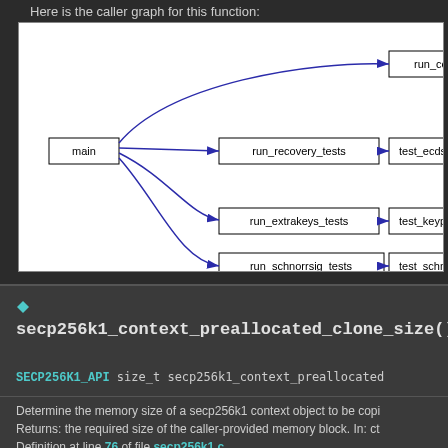Here is the caller graph for this function:
[Figure (flowchart): Caller graph showing: main node connects to run_context_ (top), run_recovery_tests which connects to test_ecdsa_reco, run_extrakeys_tests which connects to test_keypa, and run_schnorrsig_tests which connects to test_schnorrs]
secp256k1_context_preallocated_clone_size()
SECP256K1_API size_t secp256k1_context_preallocated
Determine the memory size of a secp256k1 context object to be copi
Returns: the required size of the caller-provided memory block. In: ct
Definition at line 76 of file secp256k1.c.